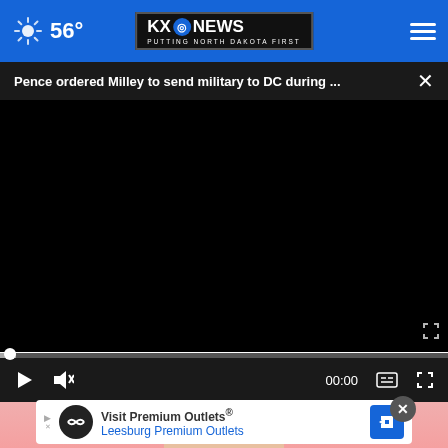56° KXO NEWS PUTTING NORTH DAKOTA FIRST
Pence ordered Milley to send military to DC during ...
[Figure (screenshot): Video player showing black screen with playback controls: play button, mute button, timestamp 00:00, captions button, and fullscreen button. A progress bar is visible at top of controls.]
[Figure (photo): Partial view of a person's face (eyes and forehead visible) against a pink/salmon background, peeking from behind an advertisement overlay.]
Visit Premium Outlets® Leesburg Premium Outlets